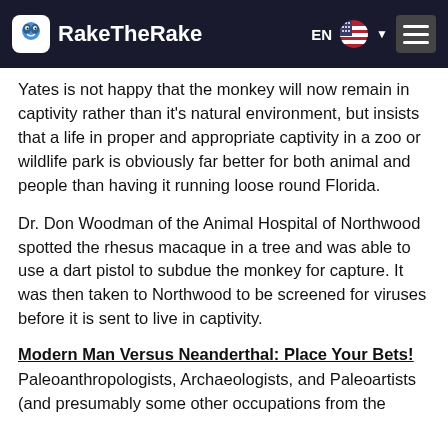RakeTheRake
Yates is not happy that the monkey will now remain in captivity rather than it’s natural environment, but insists that a life in proper and appropriate captivity in a zoo or wildlife park is obviously far better for both animal and people than having it running loose round Florida.
Dr. Don Woodman of the Animal Hospital of Northwood spotted the rhesus macaque in a tree and was able to use a dart pistol to subdue the monkey for capture. It was then taken to Northwood to be screened for viruses before it is sent to live in captivity.
Modern Man Versus Neanderthal: Place Your Bets!
Paleoanthropologists, Archaeologists, and Paleoartists (and presumably some other occupations from the